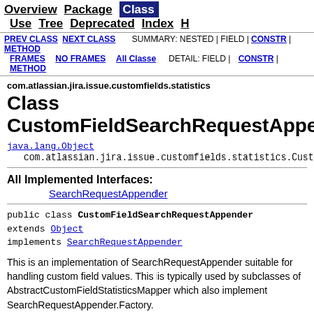Overview  Package  Class  Use  Tree  Deprecated  Index  H...
PREV CLASS  NEXT CLASS  FRAMES  NO FRAMES  All Classes  SUMMARY: NESTED | FIELD | CONSTR | METHOD  DETAIL: FIELD | CONSTR | METHOD
com.atlassian.jira.issue.customfields.statistics
Class CustomFieldSearchRequestAppender
java.lang.Object
  com.atlassian.jira.issue.customfields.statistics.Custo...
All Implemented Interfaces:
SearchRequestAppender
public class CustomFieldSearchRequestAppender
extends Object
implements SearchRequestAppender
This is an implementation of SearchRequestAppender suitable for handling custom field values. This is typically used by subclasses of AbstractCustomFieldStatisticsMapper which also implement SearchRequestAppender.Factory.